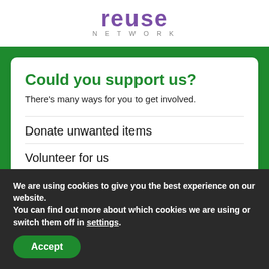NETWORK
Could you support us?
There's many ways for you to get involved.
Donate unwanted items
Volunteer for us
We are using cookies to give you the best experience on our website.
You can find out more about which cookies we are using or switch them off in settings.